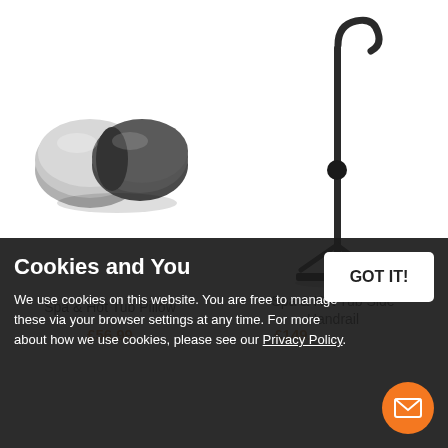[Figure (photo): Spa & Hot Tub Pillow - grey headrest pillow accessory product image]
[Figure (photo): Spa & Hot Tub Side Handrail - black metal handrail with adjustable stand product image]
Spa & Hot Tub Pillow
Spa & Hot Tub Side Handrail
£56.99
£149.
Cookies and You
We use cookies on this website. You are free to manage these via your browser settings at any time. For more about how we use cookies, please see our Privacy Policy.
[Figure (other): GOT IT! button - white rectangular button]